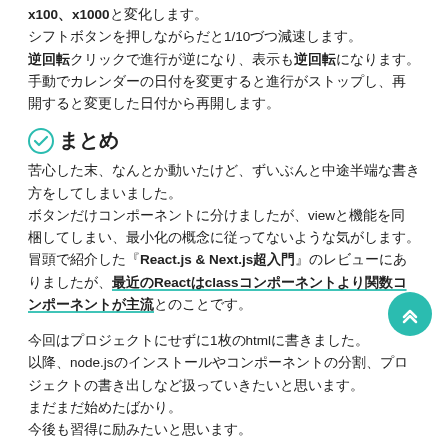x100、x1000と変化します。
シフトボタンを押しながらだと1/10づつ減速します。
逆回転クリックで進行が逆になり、表示も逆回転になります。
手動でカレンダーの日付を変更すると進行がストップし、再開すると変更した日付から再開します。
まとめ
苦心した末、なんとか動いたけど、ずいぶんと中途半端な書き方をしてしまいました。
ボタンだけコンポーネントに分けましたが、viewと機能を同梱してしまい、最小化の概念に従ってないような気がします。
冒頭で紹介した『React.js & Next.js超入門』のレビューにありましたが、最近のReactはclassコンポーネントより関数コンポーネントが主流とのことです。
今回はプロジェクトにせずに1枚のhtmlに書きました。
以降、node.jsのインストールやコンポーネントの分割、プロジェクトの書き出しなど扱っていきたいと思います。
まだまだ始めたばかり。
今後も習得に励みたいと思います。